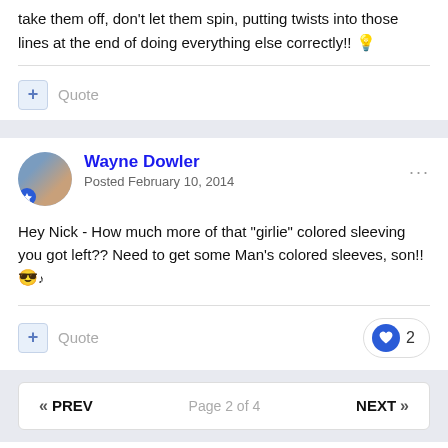take them off, don't let them spin, putting twists into those lines at the end of doing everything else correctly!! 🔦
Quote
Wayne Dowler
Posted February 10, 2014
Hey Nick - How much more of that "girlie" colored sleeving you got left?? Need to get some Man's colored sleeves, son!! 😎♪
Quote  2
« PREV   Page 2 of 4   NEXT »